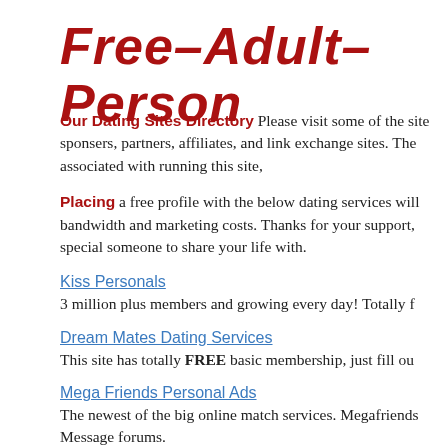Free–Adult–Person
Our Dating Sites Directory Please visit some of the site sponsers, partners, affiliates, and link exchange sites. The associated with running this site,
Placing a free profile with the below dating services will bandwidth and marketing costs. Thanks for your support, special someone to share your life with.
Kiss Personals
3 million plus members and growing every day! Totally f
Dream Mates Dating Services
This site has totally FREE basic membership, just fill ou
Mega Friends Personal Ads
The newest of the big online match services. Megafriends Message forums.
Date Service Personals